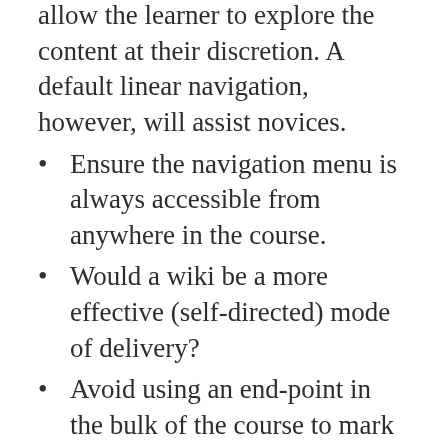allow the learner to explore the content at their discretion. A default linear navigation, however, will assist novices.
Ensure the navigation menu is always accessible from anywhere in the course.
Would a wiki be a more effective (self-directed) mode of delivery?
Avoid using an end-point in the bulk of the course to mark completion: instead, use a summative assessment.
If your assessment is robust enough, those who understand the content will pass, while those who don't will